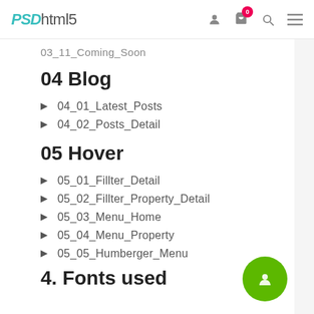PSDhtml5
03_11_Coming_Soon
04 Blog
04_01_Latest_Posts
04_02_Posts_Detail
05 Hover
05_01_Fillter_Detail
05_02_Fillter_Property_Detail
05_03_Menu_Home
05_04_Menu_Property
05_05_Humberger_Menu
4. Fonts used